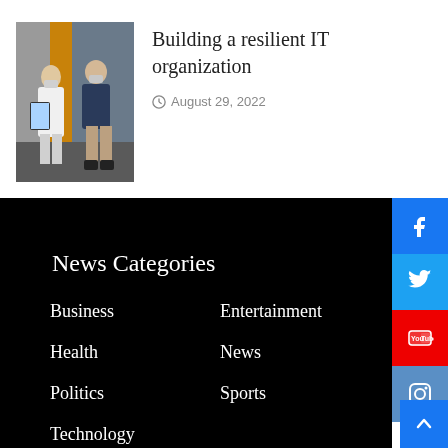[Figure (photo): Two people wearing masks sitting, one holding a tablet]
Building a resilient IT organization
August 29, 2022
News Categories
Business
Entertainment
Health
News
Politics
Sports
Technology